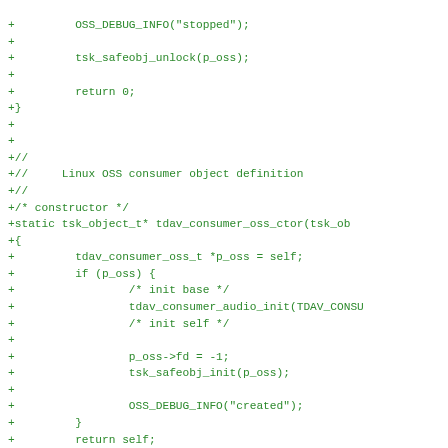[Figure (other): Source code diff showing C code for Linux OSS consumer object definition, including constructor and destructor functions for tdav_consumer_oss]